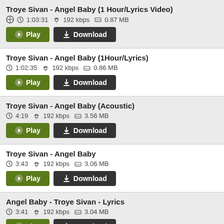Troye Sivan - Angel Baby (1 Hour/Lyrics Video)
⏱ 1:03:31  👍 192 kbps  🗜 0.87 MB
Troye Sivan - Angel Baby (1Hour/Lyrics)
⏱ 1:02:35  👍 192 kbps  🗜 0.86 MB
Troye Sivan - Angel Baby (Acoustic)
⏱ 4:19  👍 192 kbps  🗜 3.56 MB
Troye Sivan - Angel Baby
⏱ 3:43  👍 192 kbps  🗜 3.06 MB
Angel Baby - Troye Sivan - Lyrics
⏱ 3:41  👍 192 kbps  🗜 3.04 MB